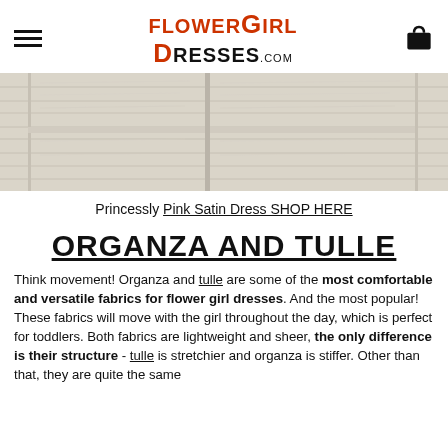FlowerGirlDresses.com
[Figure (photo): Close-up photo of whitewashed/weathered wooden shutters or panels with horizontal planks, light gray-white tones.]
Princessly Pink Satin Dress SHOP HERE
ORGANZA AND TULLE
Think movement! Organza and tulle are some of the most comfortable and versatile fabrics for flower girl dresses. And the most popular! These fabrics will move with the girl throughout the day, which is perfect for toddlers. Both fabrics are lightweight and sheer, the only difference is their structure - tulle is stretchier and organza is stiffer. Other than that, they are quite the same